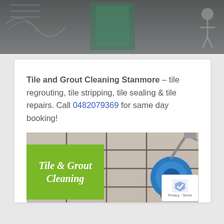[Figure (photo): Header photo showing bathroom/tile area with grey tones]
Tile and Grout Cleaning Stanmore – tile regrouting, tile stripping, tile sealing & tile repairs. Call 0482079369 for same day booking!
[Figure (photo): Photo of tile and grout cleaning with blue cleaning machine on beige floor tiles, overlaid with green box reading 'Tile & Grout Cleaning']